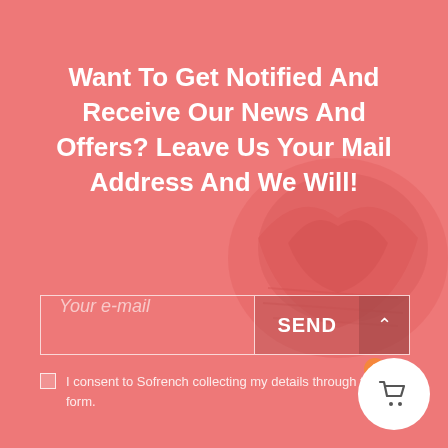Want To Get Notified And Receive Our News And Offers? Leave Us Your Mail Address And We Will!
Your e-mail
SEND
I consent to Sofrench collecting my details through this form.